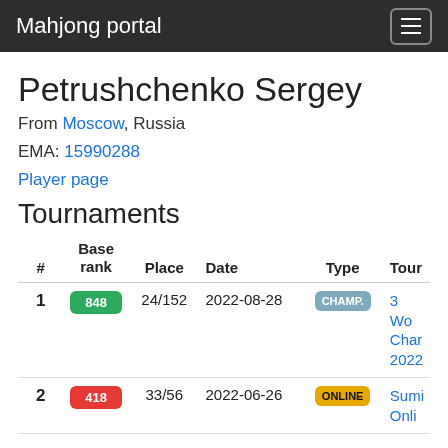Mahjong portal
Petrushchenko Sergey
From Moscow, Russia
EMA: 15990288
Player page
Tournaments
| # | Base rank | Place | Date | Type | Tour |
| --- | --- | --- | --- | --- | --- |
| 1 | 848 | 24/152 | 2022-08-28 | CHAMP. | 3 Wo Char 2022 |
| 2 | 418 | 33/56 | 2022-06-26 | ONLINE | Sumi Onli |